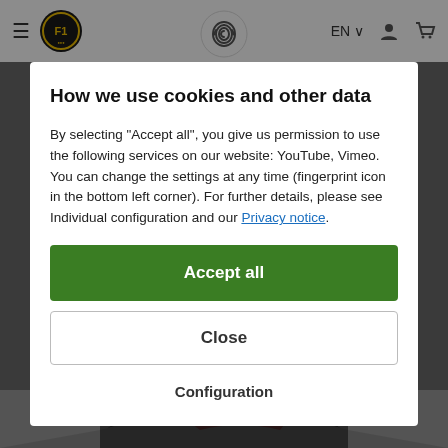≡ [logo] [fingerprint icon] EN ∨ [user icon] [cart icon]
How we use cookies and other data
By selecting "Accept all", you give us permission to use the following services on our website: YouTube, Vimeo. You can change the settings at any time (fingerprint icon in the bottom left corner). For further details, please see Individual configuration and our Privacy notice.
Accept all
Close
Configuration
[Figure (photo): Bottom portion of product image (appears to be a bowling ball or helmet with dark and red coloring) partially visible at the bottom of the page]